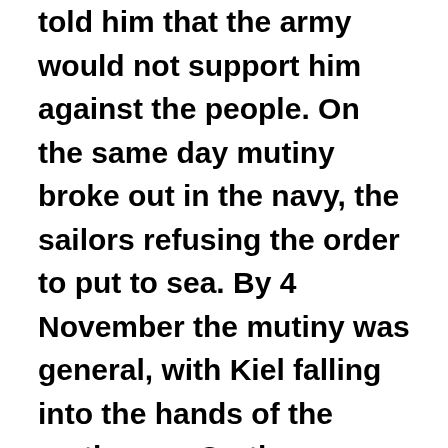told him that the army would not support him against the people. On the same day mutiny broke out in the navy, the sailors refusing the order to put to sea. By 4 November the mutiny was general, with Kiel falling into the hands of the mutineers. On the same day, the Austro-Hungarian Armistice with Italy exposed Bavaria to attack. A few days later the mutineers had occupied the main cities of